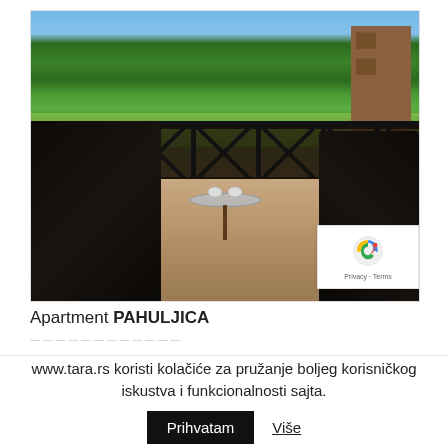[Figure (photo): Balcony photo showing two dark wicker chairs and a small glass table on a balcony, with a view of pine trees and greenery in the background, blue sky above. A railing with X-cross pattern is visible in the middle.]
Apartment PAHULJICA
www.tara.rs koristi kolačiće za pružanje boljeg korisničkog iskustva i funkcionalnosti sajta.
Prihvatam
Više